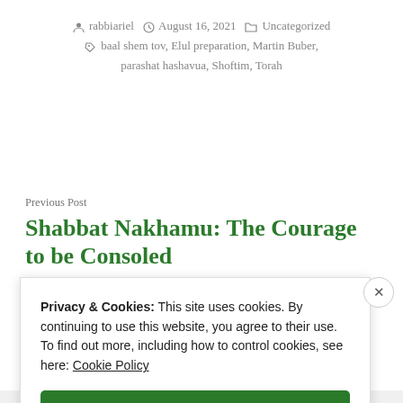rabbiariel  August 16, 2021  Uncategorized  baal shem tov, Elul preparation, Martin Buber, parashat hashavua, Shoftim, Torah
Previous Post
Shabbat Nakhamu: The Courage to be Consoled
Privacy & Cookies: This site uses cookies. By continuing to use this website, you agree to their use.
To find out more, including how to control cookies, see here: Cookie Policy
Close and accept